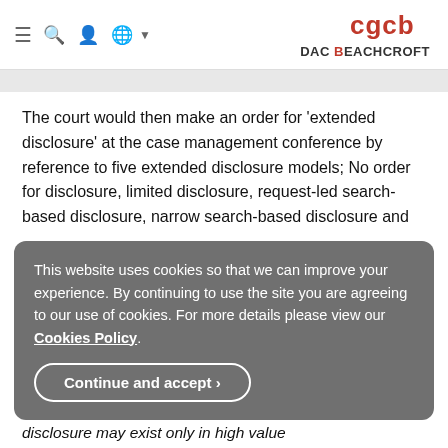DAC BEACHCROFT
The court would then make an order for 'extended disclosure' at the case management conference by reference to five extended disclosure models; No order for disclosure, limited disclosure, request-led search-based disclosure, narrow search-based disclosure and
This website uses cookies so that we can improve your experience. By continuing to use the site you are agreeing to our use of cookies. For more details please view our Cookies Policy.
Continue and accept ›
disclosure may exist only in high value